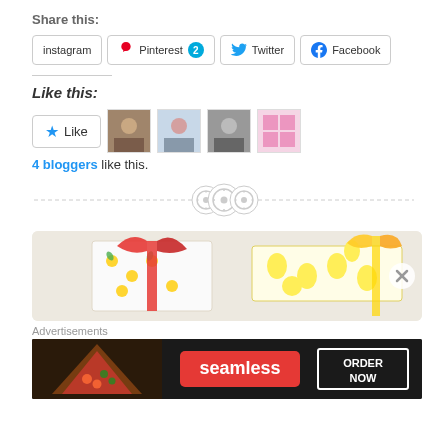Share this:
instagram  Pinterest 2  Twitter  Facebook
Like this:
Like  4 bloggers like this.
[Figure (other): Three button icons on a dashed horizontal divider line]
[Figure (photo): Gift-wrapped items with colorful fruit pattern fabric and ribbon]
Advertisements
[Figure (infographic): Seamless food delivery advertisement banner with pizza image, Seamless logo and ORDER NOW text]